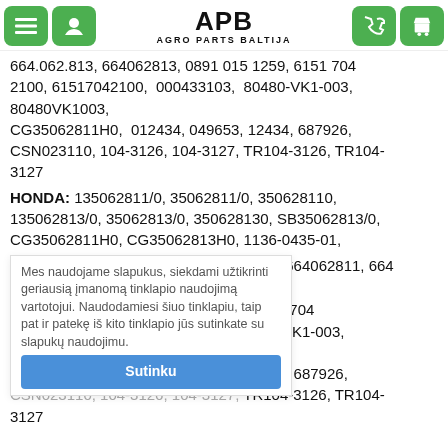APB AGRO PARTS BALTIJA
664.062.813, 664062813, 0891 015 1259, 6151 704 2100, 61517042100, 000433103, 80480-VK1-003, 80480VK1003, CG35062811H0, 012434, 049653, 12434, 687926, CSN023110, 104-3126, 104-3127, TR104-3126, TR104-3127
HONDA: 135062811/0, 35062811/0, 350628110, 135062813/0, 35062813/0, 350628130, SB35062813/0, CG35062811H0, CG35062813H0, 1136-0435-01,
1136043501, 664 062 811, 664.062.811, 664062811, 664 062 813,
Mes naudojame slapukus, siekdami užtikrinti geriausią įmanomą tinklapio naudojimą vartotojui. Naudodamiesi šiuo tinklapiu, taip pat ir patekę iš kito tinklapio jūs sutinkate su slapukų naudojimu.
Sutinku
0891 015 1259, 6151 704 2100, 61517042100, 000433103, 80480-VK1-003, 80480VK1003, CG35062811H0, 012434, 049653, 12434, 687926, CSN023110, 104-3126, 104-3127, TR104-3126, TR104-3127
AGROSTROJ PROSTEJOV: 135062811/0, 35062811/0,